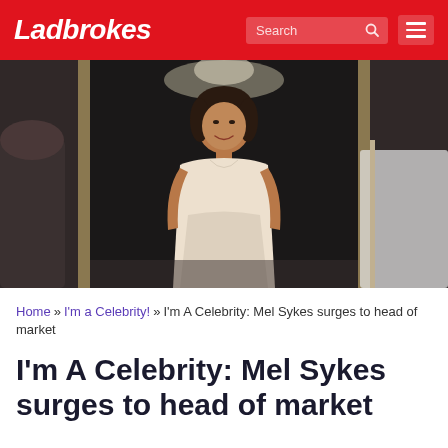Ladbrokes
[Figure (photo): Woman in a cream/white dress standing in a doorway at an event, smiling at the camera]
Home » I'm a Celebrity! » I'm A Celebrity: Mel Sykes surges to head of market
I'm A Celebrity: Mel Sykes surges to head of market